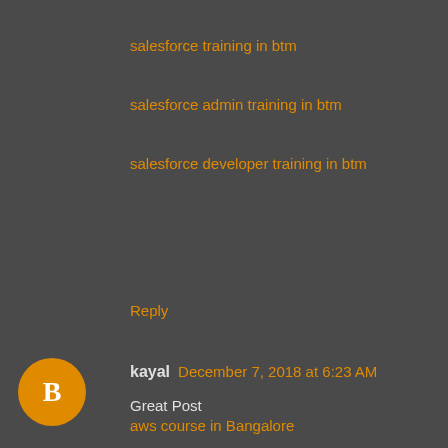salesforce training in btm
salesforce admin training in btm
salesforce developer training in btm
Reply
kayal  December 7, 2018 at 6:23 AM
Great Post
aws course in Bangalore
aws training center in Bangalore
cloud computing courses in Bangalore
amazon web services training institutes in Bangalore
best cloud computing institute in Bangalore